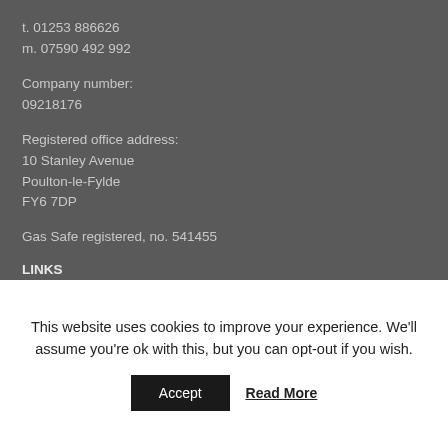t. 01253 886626
m. 07590 492 992
Company number:
09218176
Registered office address:
10 Stanley Avenue
Poulton-le-Fylde
FY6 7DP
Gas Safe registered, no. 541455
LINKS
Privacy Statement
This website uses cookies to improve your experience. We'll assume you're ok with this, but you can opt-out if you wish.
Accept
Read More